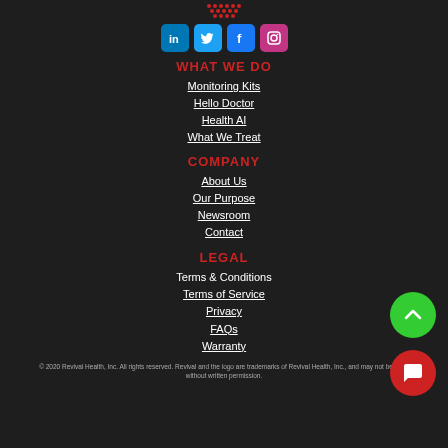[Figure (logo): Red dot pattern logo at top center]
[Figure (infographic): Row of four social media icons: LinkedIn (blue), Twitter (blue), Facebook (blue), Instagram (pink)]
WHAT WE DO
Monitoring Kits
Hello Doctor
Health AI
What We Treat
COMPANY
About Us
Our Purpose
Newsroom
Contact
LEGAL
Terms & Conditions
Terms of Service
Privacy
FAQs
Warranty
© 2020 Revival Health, Inc.  All rights reserved. Revival and the logo are trademarks of Revival Health, Inc., and may not be used without written permission.